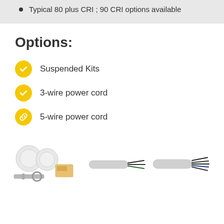Typical 80 plus CRI ; 90 CRI options available
Options:
Suspended Kits
3-wire power cord
5-wire power cord
[Figure (photo): Three product photos: a suspended kit with two white disk canopy covers, mounting bracket and clamp hardware, and an instruction card; a 3-wire power cord showing gray jacket with green and black wires exposed at end; a 5-wire power cord showing gray jacket with multiple dark wires exposed at end.]